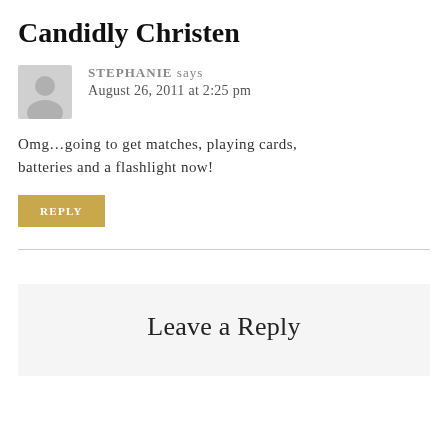Candidly Christen
STEPHANIE says
August 26, 2011 at 2:25 pm
Omg…going to get matches, playing cards, batteries and a flashlight now!
REPLY
Leave a Reply